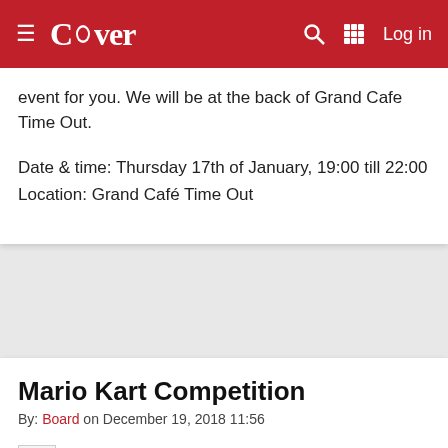Cover
event for you. We will be at the back of Grand Cafe Time Out.
Date & time: Thursday 17th of January, 19:00 till 22:00
Location: Grand Café Time Out
Mario Kart Competition
By: Board on December 19, 2018 11:56
[Figure (photo): Small broken/loading image placeholder]
It's the moment you've all been waiting for! You've